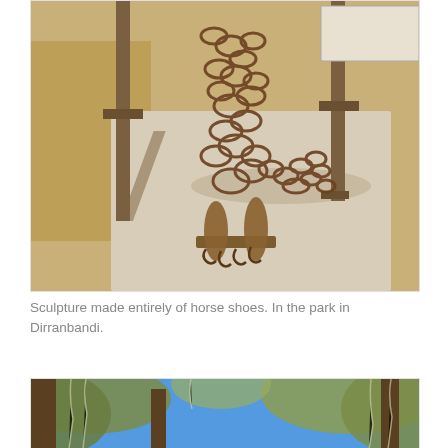[Figure (photo): Close-up photograph of a sculpture made entirely of horseshoes, standing on a concrete base in a park in Dirranbandi. The sculpture appears to form a human or animal figure shape from interlocked horseshoes. Metal support posts are visible on either side, and dry grass and a sign are visible in the background.]
Sculpture made entirely of horse shoes. In the park in Dirranbandi.
[Figure (photo): Photograph looking up into blue sky through gum tree branches with grey-green foliage and Spanish moss-like vegetation hanging from the branches.]